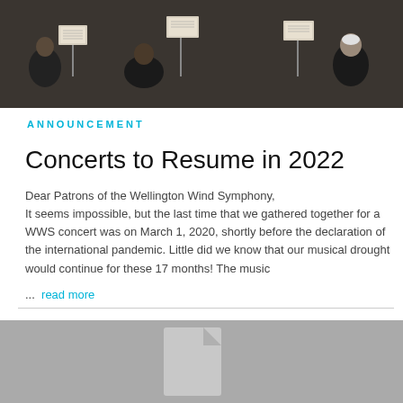[Figure (photo): Orchestra musicians playing, music stands visible, dark clothing, concert setting]
ANNOUNCEMENT
Concerts to Resume in 2022
Dear Patrons of the Wellington Wind Symphony,
It seems impossible, but the last time that we gathered together for a WWS concert was on March 1, 2020, shortly before the declaration of the international pandemic. Little did we know that our musical drought would continue for these 17 months! The music
... read more
[Figure (other): Grey placeholder image with a document/file icon in the center]